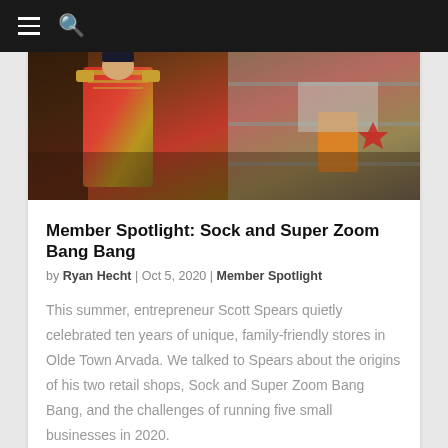Navigation bar with hamburger menu and search icon
[Figure (photo): A storefront display featuring a mannequin or figurine dressed in a red and gold military-style uniform jacket, with store shelving and promotional materials visible in the background.]
Member Spotlight: Sock and Super Zoom Bang Bang
by Ryan Hecht | Oct 5, 2020 | Member Spotlight
This summer, entrepreneur Scott Spears quietly celebrated ten years of unique, family-friendly stores in Olde Town Arvada. We talked to Spears about the origins of his two retail shops, Sock and Super Zoom Bang Bang, and the challenges of running five small businesses in 2020.